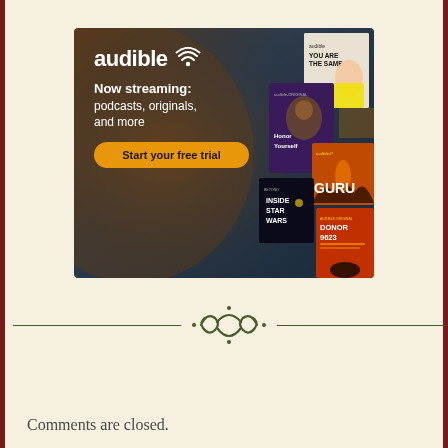[Figure (advertisement): Audible advertisement banner. Shows the Audible logo with wifi-style icon, text 'Now streaming: podcasts, originals, and more', an orange 'Start your free trial' CTA button, and several book/podcast covers including 'Honor Yourself', 'GURU', 'Inside Star Wars', 'DONOR 9623', and a woman on a book cover. Dark blue-brown gradient background.]
[Figure (illustration): Ornamental divider with two scrolling flourishes/curls in dark olive green, flanked by horizontal lines on each side.]
Comments are closed.